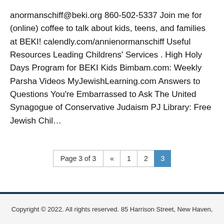anormanschiff@beki.org 860-502-5337 Join me for (online) coffee to talk about kids, teens, and families at BEKI! calendly.com/annienormanschiff Useful Resources Leading Childrens' Services . High Holy Days Program for BEKI Kids Bimbam.com: Weekly Parsha Videos MyJewishLearning.com Answers to Questions You're Embarrassed to Ask The United Synagogue of Conservative Judaism PJ Library: Free Jewish Chil…
Page 3 of 3  «  1  2  3
Copyright © 2022. All rights reserved. 85 Harrison Street, New Haven,